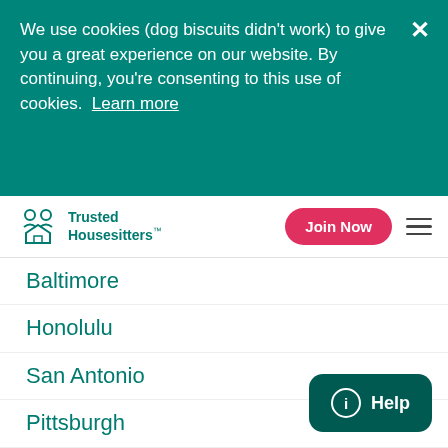We use cookies (dog biscuits didn't work) to give you a great experience on our website. By continuing, you're consenting to this use of cookies. Learn more
Trusted Housesitters™
Baltimore
Honolulu
San Antonio
Pittsburgh
Durham
Charleston
See more cities